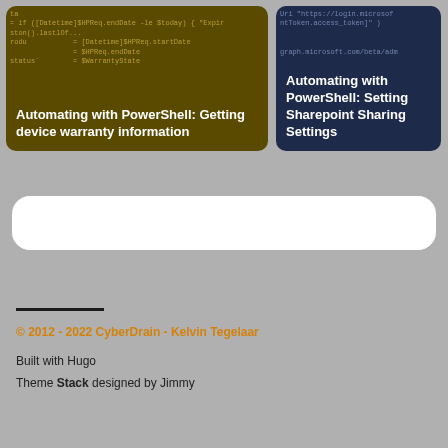[Figure (screenshot): Card with dark olive/brown background showing PowerShell code snippet overlaid with title text: Automating with PowerShell: Getting device warranty information]
[Figure (screenshot): Card with dark navy blue background showing PowerShell code snippet overlaid with title text: Automating with PowerShell: Setting Sharepoint Sharing Settings]
[Figure (other): White rounded rectangle search bar element]
© 2012 - 2022 CyberDrain - Kelvin Tegelaar
Built with Hugo
Theme Stack designed by Jimmy